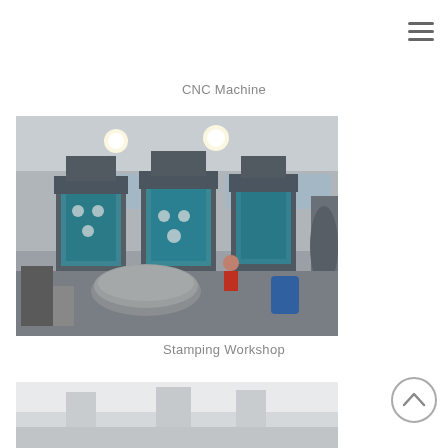AIXI
[Figure (photo): CNC Machine workshop photo showing manufacturing equipment, AIXI logo visible in top left, blue and gray tones]
CNC Machine
[Figure (photo): Stamping Workshop interior photo showing large stamping press machines with teal/blue panels, sheet metal coils and materials on the floor, industrial lighting overhead]
Stamping Workshop
[Figure (photo): Partial view of another workshop or machine, mostly white/gray, bottom of page]
[Figure (other): Scroll to top circular button with upward chevron arrow]